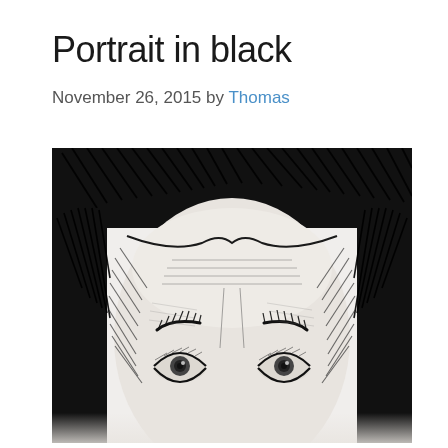Portrait in black
November 26, 2015 by Thomas
[Figure (illustration): A black ink pen sketch portrait of a person's face and upper head. The drawing features heavy cross-hatching in black ink, showing dark hair rendered with vigorous diagonal strokes at the top and sides, a broad forehead, and two eyes looking forward. The style is expressive and gestural with dense hatching creating shadows and form.]